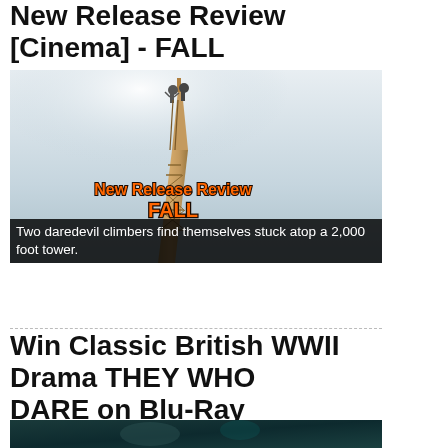New Release Review [Cinema] - FALL
[Figure (photo): A tall brown radio/TV tower shot from below against a pale sky, two people visible at the top. Orange bold overlay text reads 'New Release Review FALL'.]
Two daredevil climbers find themselves stuck atop a 2,000 foot tower.
Win Classic British WWII Drama THEY WHO DARE on Blu-Ray
[Figure (photo): Partial view of a movie still, dark teal/blue toned image partially visible at bottom of page.]